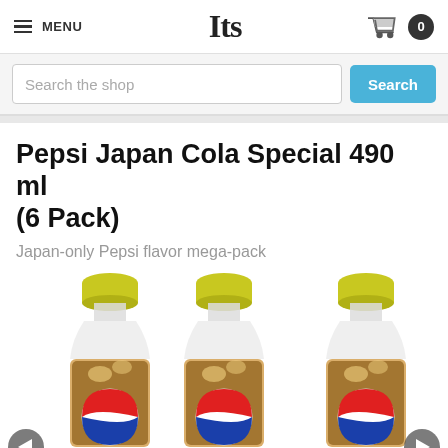MENU | Jts | Cart 0
Search the shop
Pepsi Japan Cola Special 490 ml (6 Pack)
Japan-only Pepsi flavor mega-pack
[Figure (photo): Three Pepsi Japan Cola Special 490ml plastic bottles with yellow caps and Pepsi logo, showing cola liquid inside, arranged side by side with navigation arrows at the bottom.]